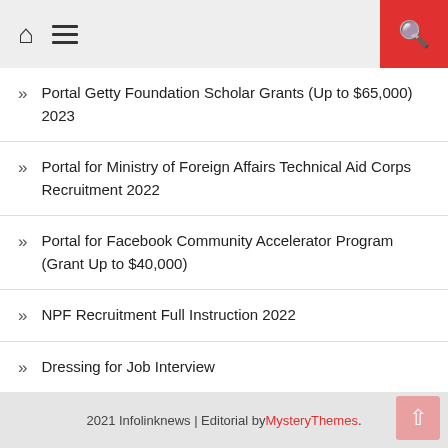Home menu search
Portal Getty Foundation Scholar Grants (Up to $65,000) 2023
Portal for Ministry of Foreign Affairs Technical Aid Corps Recruitment 2022
Portal for Facebook Community Accelerator Program (Grant Up to $40,000)
NPF Recruitment Full Instruction 2022
Dressing for Job Interview
2021 Infolinknews | Editorial by MysteryThemes.